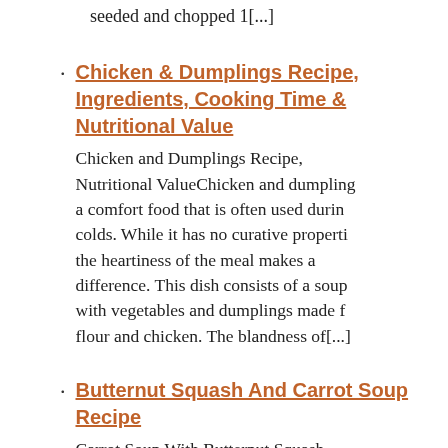seeded and chopped 1[...]
Chicken & Dumplings Recipe, Ingredients, Cooking Time & Nutritional Value
Chicken and Dumplings Recipe, Nutritional ValueChicken and dumpling a comfort food that is often used durin colds. While it has no curative properti the heartiness of the meal makes a difference. This dish consists of a soup with vegetables and dumplings made f flour and chicken. The blandness of[...]
Butternut Squash And Carrot Soup Recipe
Carrot Soup With Butternut Squash Butternut Squash Ingredients Chicken